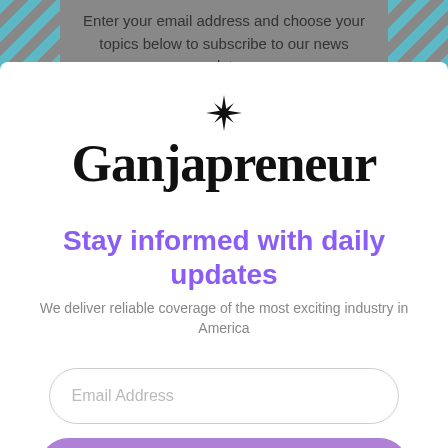Enter your email address and choose your topics below to subscribe to our news updates:
[Figure (logo): Ganjapreneur logo with a star/asterisk symbol above the word Ganjapreneur in bold serif font]
Stay informed with daily updates
We deliver reliable coverage of the most exciting industry in America
Email Address
SUBSCRIBE